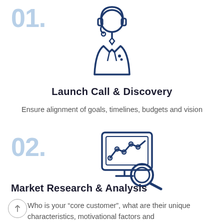[Figure (illustration): Icon of a customer service representative with headset, dark blue outline style]
Launch Call & Discovery
Ensure alignment of goals, timelines, budgets and vision
[Figure (illustration): Icon of a analytics/data chart on a monitor with a magnifying glass, dark blue outline style]
Market Research & Analysis
Who is your “core customer”, what are their unique characteristics, motivational factors and